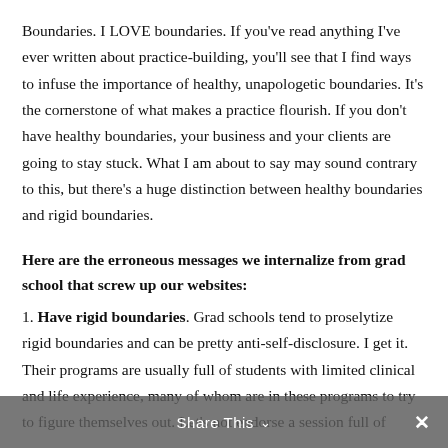Boundaries. I LOVE boundaries. If you've read anything I've ever written about practice-building, you'll see that I find ways to infuse the importance of healthy, unapologetic boundaries. It's the cornerstone of what makes a practice flourish. If you don't have healthy boundaries, your business and your clients are going to stay stuck. What I am about to say may sound contrary to this, but there's a huge distinction between healthy boundaries and rigid boundaries.
Here are the erroneous messages we internalize from grad school that screw up our websites:
1. Have rigid boundaries. Grad schools tend to proselytize rigid boundaries and can be pretty anti-self-disclosure. I get it. Their programs are usually full of students with limited clinical and life experience, many of whom are in these programs to try to figure themselves out. Let's not endorse a session full of
Share This